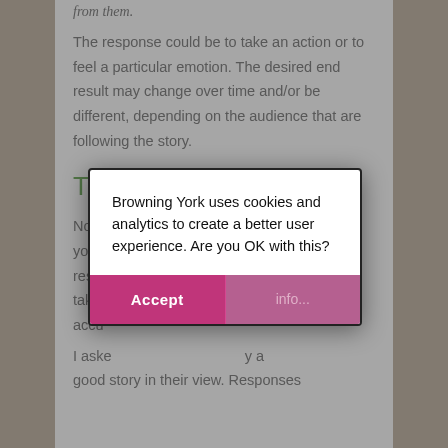from them.
The response could be to take an action or to feel a particular emotion. The desired end result may change over time and/or be different, depending on the audience that are following the story.
The elements of good
Now [partial] ...out your [partial] ...respo[nse] ...to take [partial] ...accu[rate]...
[Figure (screenshot): Cookie consent modal dialog from Browning York website. Contains message: 'Browning York uses cookies and analytics to create a better user experience. Are you OK with this?' with two buttons: 'Accept' (magenta/pink) and 'info...' (lighter pink).]
I aske[d]... [y a] good story in their view. Responses